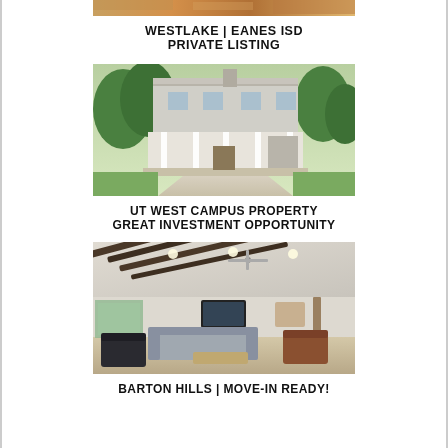[Figure (photo): Partial view of a property photo cropped at top of page]
WESTLAKE | EANES ISD
PRIVATE LISTING
[Figure (photo): Exterior photo of a two-story white house with covered porch and concrete driveway, surrounded by trees]
UT WEST CAMPUS PROPERTY
GREAT INVESTMENT OPPORTUNITY
[Figure (photo): Interior photo of a modern living room with exposed beam ceiling, gray sofa, and hardwood floors]
BARTON HILLS | MOVE-IN READY!